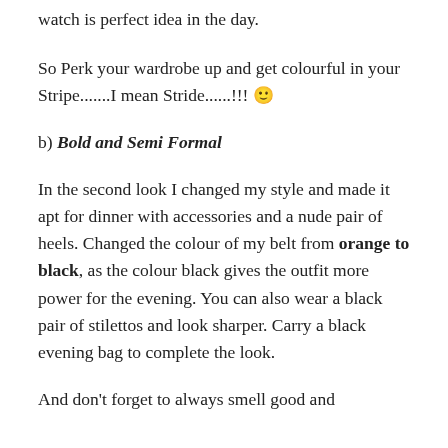watch is perfect idea in the day.
So Perk your wardrobe up and get colourful in your Stripe.......I mean Stride......!!! 🙂
b) Bold and Semi Formal
In the second look I changed my style and made it apt for dinner with accessories and a nude pair of heels. Changed the colour of my belt from orange to black, as the colour black gives the outfit more power for the evening. You can also wear a black pair of stilettos and look sharper. Carry a black evening bag to complete the look.
And don't forget to always smell good and